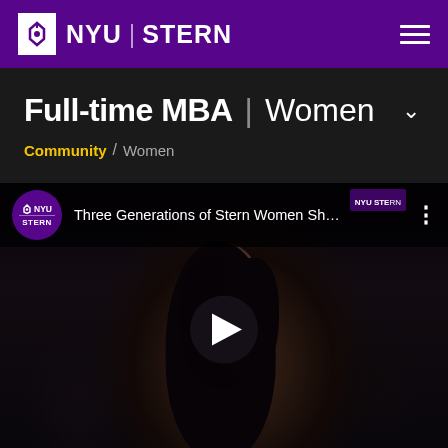NYU STERN
Full-time MBA | Women
Community / Women
[Figure (screenshot): YouTube video embed showing 'Three Generations of Stern Women Sh...' with NYU Stern channel icon, play button overlay, and a woman with dark hair in the video frame background.]